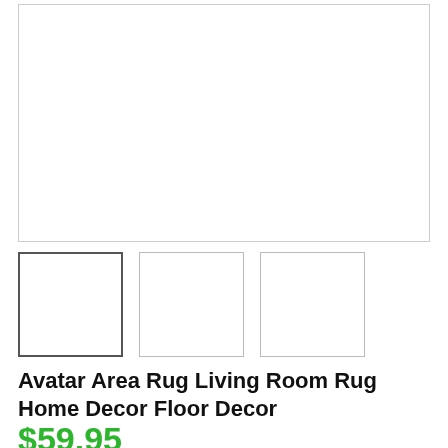[Figure (photo): Main product image placeholder area (white box with gray border)]
[Figure (photo): Thumbnail image 1 (selected, darker border)]
[Figure (photo): Thumbnail image 2]
[Figure (photo): Thumbnail image 3]
Avatar Area Rug Living Room Rug Home Decor Floor Decor
$59.95
Size
Small (3ft x 5ft) ($65.99)